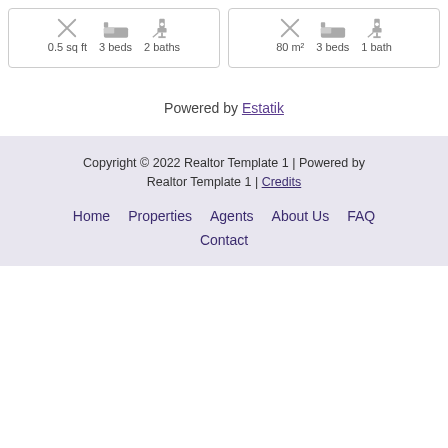0.5 sq ft   3 beds   2 baths
80 m²   3 beds   1 bath
Powered by Estatik
Copyright © 2022 Realtor Template 1 | Powered by Realtor Template 1 | Credits
Home   Properties   Agents   About Us   FAQ   Contact